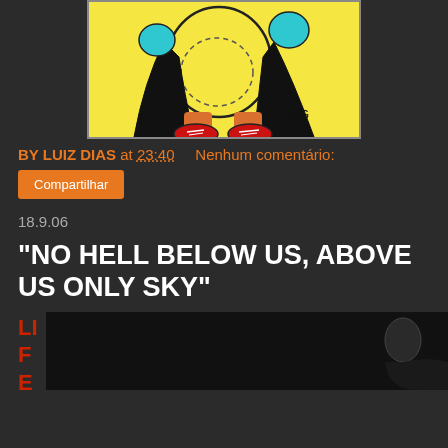[Figure (illustration): Hand-drawn cartoon illustration of a minion-like character wearing a black cape and red shoes with cyan gloves on a yellow background, with an artist signature.]
BY LUIZ DIAS at 23:40    Nenhum comentário:
Compartilhar
18.9.06
"NO HELL BELOW US, ABOVE US ONLY SKY"
LI
F
E
[Figure (photo): Dark photo showing a person partially visible against a black background.]